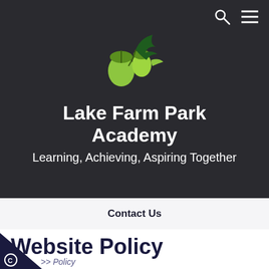[Figure (logo): Lake Farm Park Academy logo: two green acorns with oak leaf on dark background]
Lake Farm Park Academy
Learning, Achieving, Aspiring Together
Contact Us
Website Policy
>> Policy